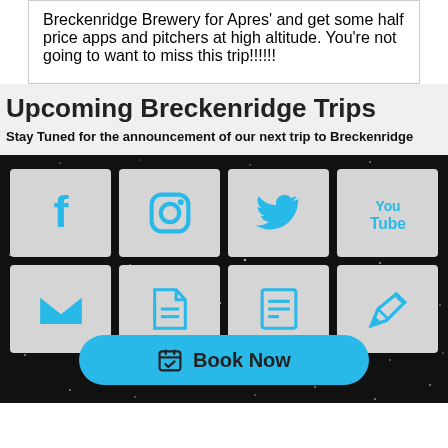Breckenridge Brewery for Apres' and get some half price apps and pitchers at high altitude. You're not going to want to miss this trip!!!!!!
Upcoming Breckenridge Trips
Stay Tuned for the announcement of our next trip to Breckenridge
[Figure (infographic): Dark starfield background with a 2x4 grid of social media and contact icon boxes (Facebook, Instagram, Twitter, YouTube, Email, Document, Notes, Pencil) and a cyan 'Book Now' button with calendar icon at the bottom.]